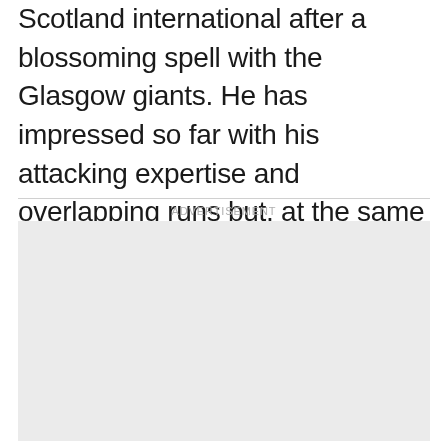Scotland international after a blossoming spell with the Glasgow giants. He has impressed so far with his attacking expertise and overlapping runs but, at the same time, struggled a bit through injury concerns. Having said that, Tierney has attuned to the grind and demand of the English game over the past three campaigns.
ADVERTISEMENT